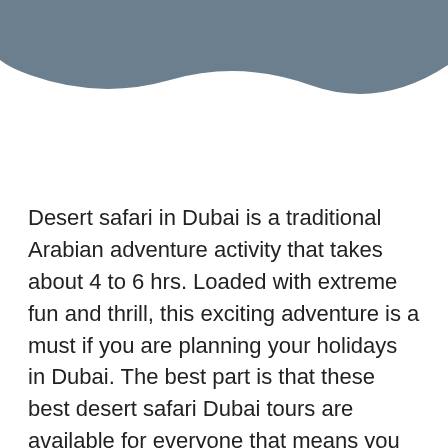[Figure (illustration): Decorative wave header graphic in slate blue/grey color at the top of the page]
Desert safari in Dubai is a traditional Arabian adventure activity that takes about 4 to 6 hrs. Loaded with extreme fun and thrill, this exciting adventure is a must if you are planning your holidays in Dubai. The best part is that these best desert safari Dubai tours are available for everyone that means you need not be an early bird or need not wake up late at night in order to enjoy this adventurous activity. You can select the safari of anytime that is morning, evening, or overnight